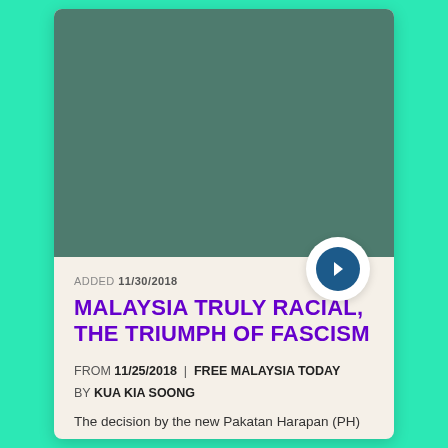[Figure (photo): Solid dark teal/green rectangle serving as article thumbnail image placeholder]
ADDED 11/30/2018
MALAYSIA TRULY RACIAL, THE TRIUMPH OF FASCISM
FROM 11/25/2018 | FREE MALAYSIA TODAY
BY KUA KIA SOONG
The decision by the new Pakatan Harapan (PH)